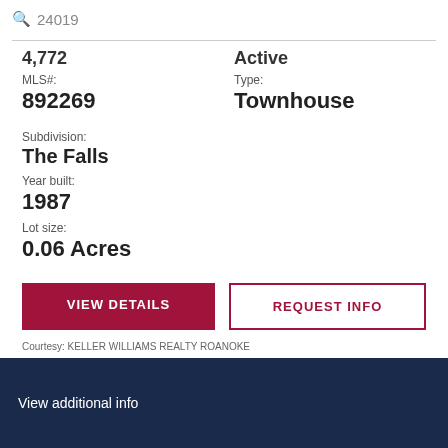24019
4,772
Active
MLS#:
892269
Type:
Townhouse
Subdivision:
The Falls
Year built:
1987
Lot size:
0.06 Acres
VIEW DETAILS
REQUEST INFO
Courtesy: KELLER WILLIAMS REALTY ROANOKE
View additional info